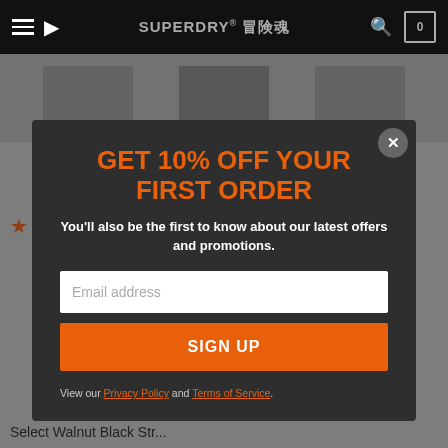SUPERDRY® 冒険魂
[Figure (screenshot): Superdry website navigation bar with hamburger menu, location arrow, brand logo, search icon, and cart icon showing 0 items]
GET 10% OFF YOUR FIRST ORDER
You'll also be the first to know about our latest offers and promotions.
Email address
SIGN UP
View our Privacy Policy and Terms of Service.
Or Spread the Cost with openpay
Free Delivery over $100